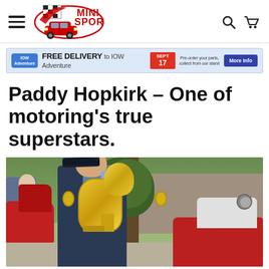[Figure (logo): Mini Sport logo with checkered flag, red Mini car illustration and 'MINI SPORT' text in red]
[Figure (infographic): Promotional banner: FREE DELIVERY to IOW Adventure, SEPT 17, Pre-order your parts, collect from our stand, More Info button]
Paddy Hopkirk – One of motoring's true superstars.
[Figure (photo): Elderly man in dark jacket and cap holding a large gold trophy, standing in front of a tree. A red classic Mini is visible in the background left, and another red car on the right. Stone wall visible behind.]